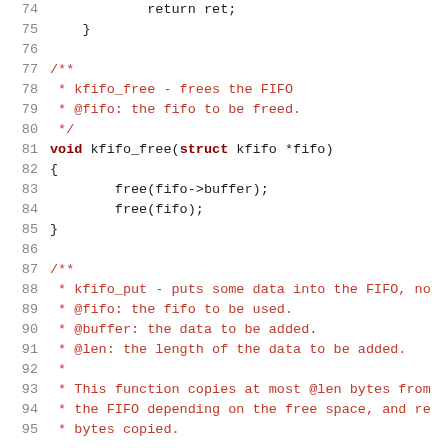[Figure (screenshot): Source code listing showing C code lines 74–95 with line numbers, featuring kfifo_free and kfifo_put function definitions with comments in dark red monospace font on white background.]